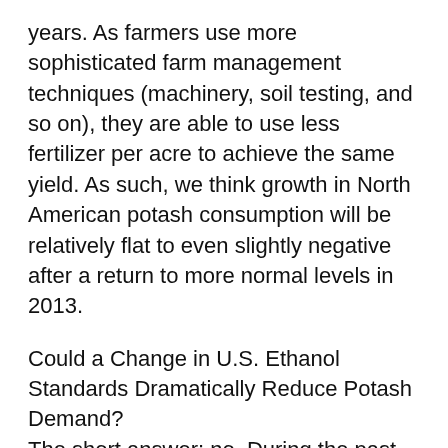years. As farmers use more sophisticated farm management techniques (machinery, soil testing, and so on), they are able to use less fertilizer per acre to achieve the same yield. As such, we think growth in North American potash consumption will be relatively flat to even slightly negative after a return to more normal levels in 2013.
Could a Change in U.S. Ethanol Standards Dramatically Reduce Potash Demand?
The short answer: no. During the past decade, ethanol has emerged as a main driver of corn demand in the U.S., skyrocketing from about 6% of total U.S. corn demand in 2000 to about 40% currently (but only roughly 20% when the coproduction of animal feed is taken into account). The U.S. government mandates the amount of ethanol used in gasoline with the Renewable Fuel Standard